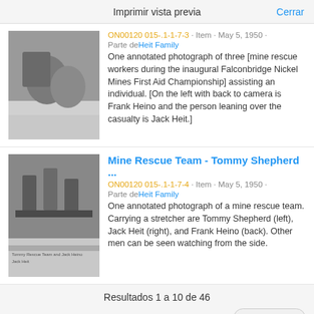Imprimir vista previa   Cerrar
[Figure (photo): Black and white photograph of mine rescue workers during the Falconbridge Nickel Mines First Aid Championship]
ON00120 015-.1-1-7-3 · Item · May 5, 1950 · Parte de Heit Family
One annotated photograph of three [mine rescue workers during the inaugural Falconbridge Nickel Mines First Aid Championship] assisting an individual. [On the left with back to camera is Frank Heino and the person leaning over the casualty is Jack Heit.]
[Figure (photo): Black and white photograph of mine rescue team members carrying a stretcher]
Mine Rescue Team - Tommy Shepherd ...
ON00120 015-.1-1-7-4 · Item · May 5, 1950 · Parte de Heit Family
One annotated photograph of a mine rescue team. Carrying a stretcher are Tommy Shepherd (left), Jack Heit (right), and Frank Heino (back). Other men can be seen watching from the side.
Resultados 1 a 10 de 46
Siguiente »